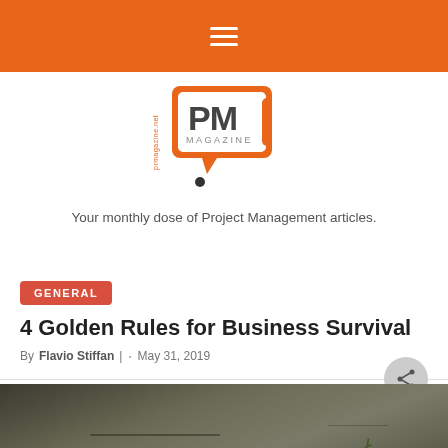Navigation bar with hamburger menu
[Figure (logo): PM Magazine logo — red/orange speech bubble containing 'PM MAGAZINE' text, with 'prmagazine.net' written vertically on the left side]
Your monthly dose of Project Management articles.
GENERAL
4 Golden Rules for Business Survival
By Flavio Stiffan |  ·  May 31, 2019
[Figure (photo): Dark, textured ground surface photo, partially visible at bottom of page]